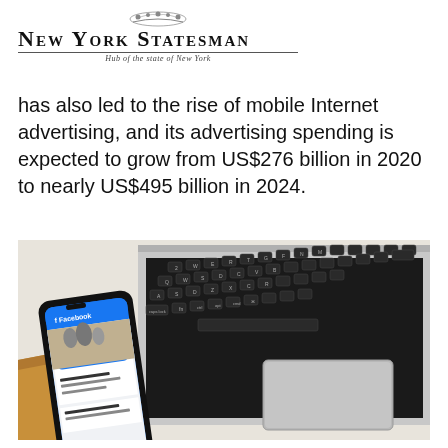NEW YORK STATESMAN — Hub of the state of New York
has also led to the rise of mobile Internet advertising, and its advertising spending is expected to grow from US$276 billion in 2020 to nearly US$495 billion in 2024.
[Figure (photo): A smartphone displaying the Facebook app next to a MacBook laptop keyboard, placed on a wooden desk surface.]